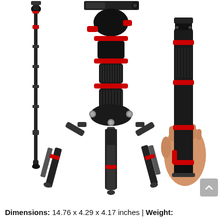[Figure (photo): Product photo of a camera tripod shown in three views: left view shows the full extended tripod/monopod with black and red accents; center view shows a close-up of the ball head assembly with red knobs; right view shows a hand holding the tripod collapsed to a compact size. The tripod features black aluminum legs with red accent rings.]
Dimensions: 14.76 x 4.29 x 4.17 inches | Weight: